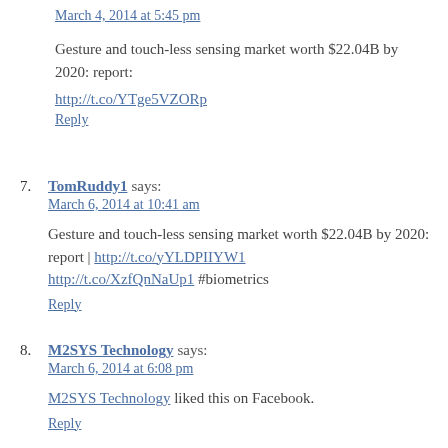March 4, 2014 at 5:45 pm
Gesture and touch-less sensing market worth $22.04B by 2020: report:
http://t.co/YTge5VZORp
Reply
7. TomRuddy1 says: March 6, 2014 at 10:41 am
Gesture and touch-less sensing market worth $22.04B by 2020: report | http://t.co/yYLDPIIYW1 http://t.co/XzfQnNaUp1 #biometrics
Reply
8. M2SYS Technology says: March 6, 2014 at 6:08 pm
M2SYS Technology liked this on Facebook.
Reply